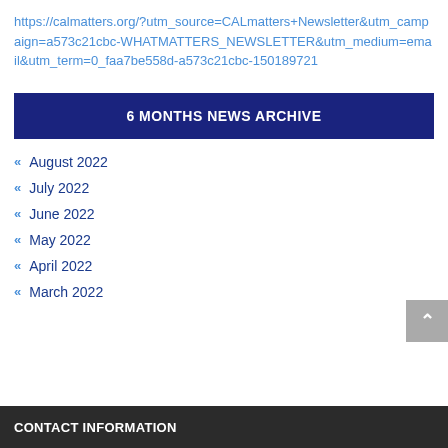https://calmatters.org/?utm_source=CALmatters+Newsletter&utm_campaign=a573c21cbc-WHATMATTERS_NEWSLETTER&utm_medium=email&utm_term=0_faa7be558d-a573c21cbc-150189721
6 MONTHS NEWS ARCHIVE
August 2022
July 2022
June 2022
May 2022
April 2022
March 2022
CONTACT INFORMATION